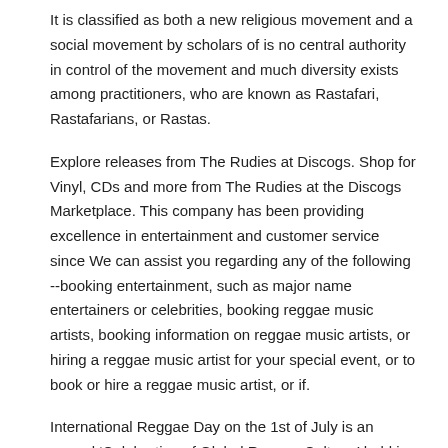It is classified as both a new religious movement and a social movement by scholars of is no central authority in control of the movement and much diversity exists among practitioners, who are known as Rastafari, Rastafarians, or Rastas.
Explore releases from The Rudies at Discogs. Shop for Vinyl, CDs and more from The Rudies at the Discogs Marketplace. This company has been providing excellence in entertainment and customer service since We can assist you regarding any of the following --booking entertainment, such as major name entertainers or celebrities, booking reggae music artists, booking information on reggae music artists, or hiring a reggae music artist for your special event, or to book or hire a reggae music artist, or if.
International Reggae Day on the 1st of July is an annual ‘Celebration of Global Reggae Culture,’ held in Kingston, Jamaica. This year’s celebrations also include events in Slovenia as well as the UK. So, what do we know about this popular music. Life before Marley. To many, Bob Marley was reggae.